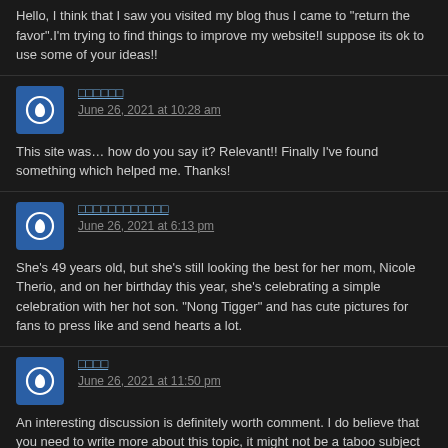Hello, I think that I saw you visited my blog thus I came to "return the favor".I'm trying to find things to improve my website!I suppose its ok to use some of your ideas!!
□□□□□□
June 26, 2021 at 10:28 am
This site was… how do you say it? Relevant!! Finally I've found something which helped me. Thanks!
□□□□□□□□□□□□
June 26, 2021 at 6:13 pm
She's 49 years old, but she's still looking the best for her mom, Nicole Therio, and on her birthday this year, she's celebrating a simple celebration with her hot son. "Nong Tigger" and has cute pictures for fans to press like and send hearts a lot.
□□□□
June 26, 2021 at 11:50 pm
An interesting discussion is definitely worth comment. I do believe that you need to write more about this topic, it might not be a taboo subject but generally people